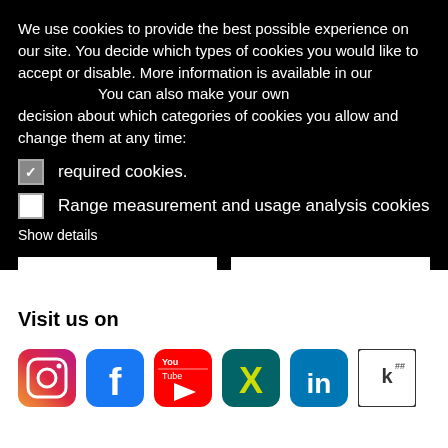We use cookies to provide the best possible experience on our site. You decide which types of cookies you would like to accept or disable. More information is available in our You can also make your own decision about which categories of cookies you allow and change them at any time:
required cookies.
Range measurement and usage analysis cookies
Show details
Allem zustimmen
Auswahl bestätigen
Visit us on
[Figure (logo): Social media icons: Instagram, Facebook, YouTube, Xing, LinkedIn, Kununu]